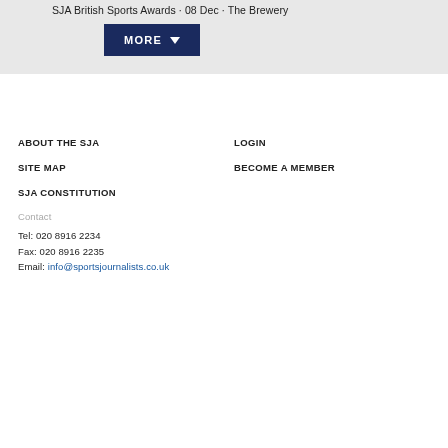SJA British Sports Awards · 08 Dec · The Brewery
[Figure (other): Dark navy blue 'MORE' button with a downward-pointing triangle/arrow icon]
ABOUT THE SJA
LOGIN
SITE MAP
BECOME A MEMBER
SJA CONSTITUTION
Contact
Tel: 020 8916 2234
Fax: 020 8916 2235
Email: info@sportsjournalists.co.uk